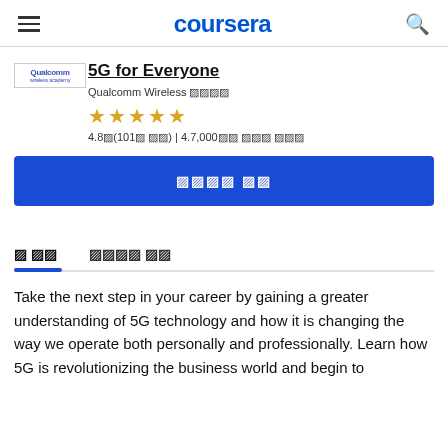coursera
[Figure (logo): Qualcomm Wireless Academy logo]
5G for Everyone
Qualcomm Wireless 아카데미
★★★★★ 4.8점(101개 평점) | 4.7,000명이 이미 등록
무료로 등록 (button)
개 요     강사와 자막
Take the next step in your career by gaining a greater understanding of 5G technology and how it is changing the way we operate both personally and professionally. Learn how 5G is revolutionizing the business world and begin to